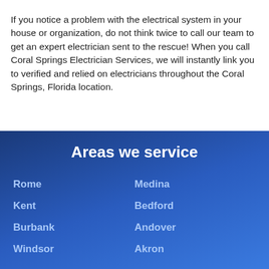If you notice a problem with the electrical system in your house or organization, do not think twice to call our team to get an expert electrician sent to the rescue! When you call Coral Springs Electrician Services, we will instantly link you to verified and relied on electricians throughout the Coral Springs, Florida location.
Areas we service
Rome
Kent
Burbank
Windsor
Medina
Bedford
Andover
Akron